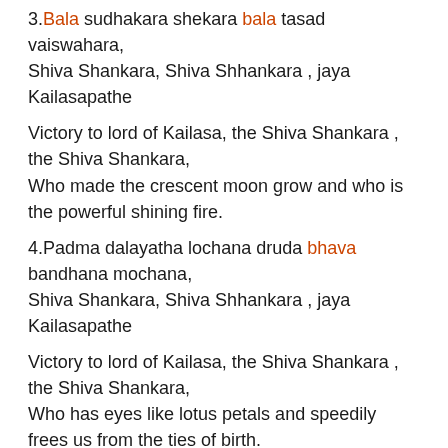3.Bala sudhakara shekara bala tasad vaiswahara, Shiva Shankara, Shiva Shhankara , jaya Kailasapathe
Victory to lord of Kailasa, the Shiva Shankara , the Shiva Shankara,
Who made the crescent moon grow and who is the powerful shining fire.
4.Padma dalayatha lochana druda bhava bandhana mochana,
Shiva Shankara, Shiva Shhankara , jaya Kailasapathe
Victory to lord of Kailasa, the Shiva Shankara , the Shiva Shankara,
Who has eyes like lotus petals and speedily frees us from the ties of birth.
5.Manda madhura hasa vadana , nirjitha dir lasitha madana,
Shiva Shankara, Shiva Shhankara , jaya Kailasapathe
Victory to lord of Kailasa, the Shiva Shankara , the Shiva Shankara,